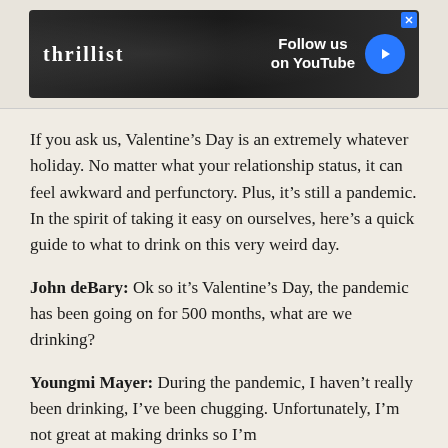[Figure (screenshot): Thrillist advertisement banner: 'Follow us on YouTube' with blue play button, on dark background with a person in a hat]
If you ask us, Valentine's Day is an extremely whatever holiday. No matter what your relationship status, it can feel awkward and perfunctory. Plus, it's still a pandemic. In the spirit of taking it easy on ourselves, here's a quick guide to what to drink on this very weird day.
John deBary: Ok so it's Valentine's Day, the pandemic has been going on for 500 months, what are we drinking?
Youngmi Mayer: During the pandemic, I haven't really been drinking, I've been chugging. Unfortunately, I'm not great at making drinks so I'm